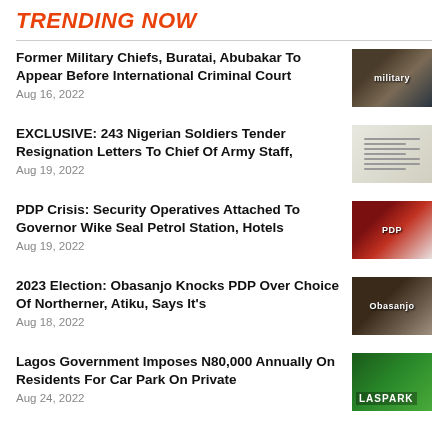TRENDING NOW
Former Military Chiefs, Buratai, Abubakar To Appear Before International Criminal Court
Aug 16, 2022
EXCLUSIVE: 243 Nigerian Soldiers Tender Resignation Letters To Chief Of Army Staff,
Aug 19, 2022
PDP Crisis: Security Operatives Attached To Governor Wike Seal Petrol Station, Hotels
Aug 19, 2022
2023 Election: Obasanjo Knocks PDP Over Choice Of Northerner, Atiku, Says It's
Aug 18, 2022
Lagos Government Imposes N80,000 Annually On Residents For Car Park On Private
Aug 24, 2022